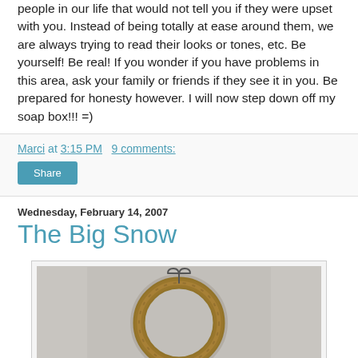people in our life that would not tell you if they were upset with you. Instead of being totally at ease around them, we are always trying to read their looks or tones, etc. Be yourself! Be real! If you wonder if you have problems in this area, ask your family or friends if they see it in you. Be prepared for honesty however. I will now step down off my soap box!!! =)
Marci at 3:15 PM   9 comments:
Share
Wednesday, February 14, 2007
The Big Snow
[Figure (photo): A circular grapevine wreath with a wire hanger on top, photographed against a light gray background.]